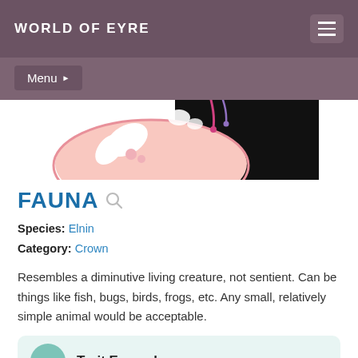WORLD OF EYRE
Menu
[Figure (illustration): Partial illustration of a fantasy creature with pink and white coloring, black background on the upper right, showing what appears to be a crown or head area with dripping elements.]
FAUNA
Species: Elnin
Category: Crown
Resembles a diminutive living creature, not sentient. Can be things like fish, bugs, birds, frogs, etc. Any small, relatively simple animal would be acceptable.
Trait Examples